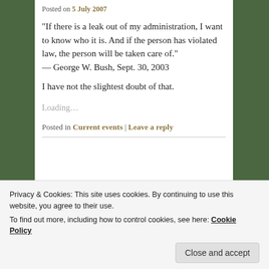Posted on 5 July 2007
“If there is a leak out of my administration, I want to know who it is. And if the person has violated law, the person will be taken care of.” — George W. Bush, Sept. 30, 2003
I have not the slightest doubt of that.
Loading…
Posted in Current events | Leave a reply
Privacy & Cookies: This site uses cookies. By continuing to use this website, you agree to their use. To find out more, including how to control cookies, see here: Cookie Policy
Close and accept